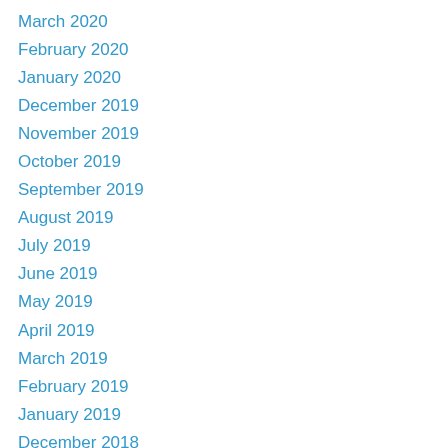March 2020
February 2020
January 2020
December 2019
November 2019
October 2019
September 2019
August 2019
July 2019
June 2019
May 2019
April 2019
March 2019
February 2019
January 2019
December 2018
October 2018
September 2018
August 2018
July 2018